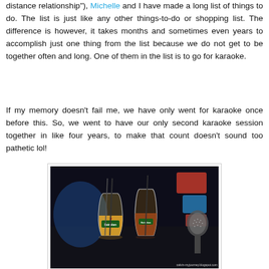distance relationship"), Michelle and I have made a long list of things to do. The list is just like any other things-to-do or shopping list. The difference is however, it takes months and sometimes even years to accomplish just one thing from the list because we do not get to be together often and long. One of them in the list is to go for karaoke.
If my memory doesn't fail me, we have only went for karaoke once before this. So, we went to have our only second karaoke session together in like four years, to make that count doesn't sound too pathetic lol!
[Figure (photo): Two Heineken branded glasses with drinks and straws on a dark table in a karaoke room, with a microphone visible on the right side. Watermark reads: calvin-myjourney.blogspot.com]